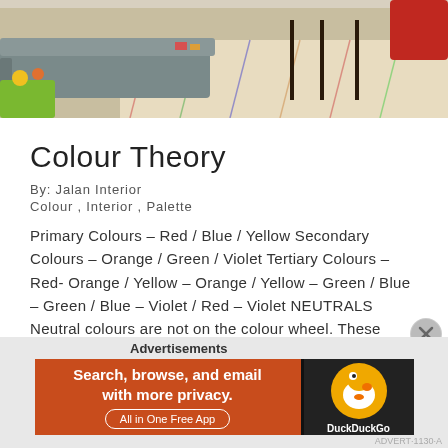[Figure (photo): Interior room photo showing a grey sofa, colourful patterned rug, dark wooden chairs, and a yellow-green side table]
Colour Theory
By:  Jalan Interior
Colour ,  Interior ,  Palette
Primary Colours – Red / Blue / Yellow Secondary Colours – Orange / Green / Violet Tertiary Colours – Red- Orange / Yellow – Orange / Yellow – Green / Blue – Green / Blue – Violet / Red – Violet NEUTRALS Neutral colours are not on the colour wheel. These include white, cream, grey, beige, taupe and…
READ MORE
Advertisements
[Figure (screenshot): DuckDuckGo advertisement banner: Search, browse, and email with more privacy. All in One Free App]